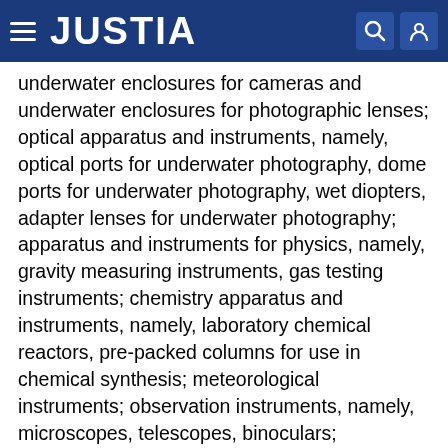JUSTIA
underwater enclosures for cameras and underwater enclosures for photographic lenses; optical apparatus and instruments, namely, optical ports for underwater photography, dome ports for underwater photography, wet diopters, adapter lenses for underwater photography; apparatus and instruments for physics, namely, gravity measuring instruments, gas testing instruments; chemistry apparatus and instruments, namely, laboratory chemical reactors, pre-packed columns for use in chemical synthesis; meteorological instruments; observation instruments, namely, microscopes, telescopes, binoculars; navigation apparatus for vehicles in the nature of on-board computers; satellite navigational apparatus, namely, a global positioning system (GPS); precision measuring apparatus, namely, laser distance meters; audio- and video-receivers; prisms for optics purposes;